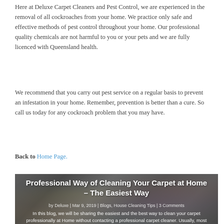Here at Deluxe Carpet Cleaners and Pest Control, we are experienced in the removal of all cockroaches from your home. We practice only safe and effective methods of pest control throughout your home. Our professional quality chemicals are not harmful to you or your pets and we are fully licenced with Queensland health.
We recommend that you carry out pest service on a regular basis to prevent an infestation in your home. Remember, prevention is better than a cure. So call us today for any cockroach problem that you may have.
Back to Home Page.
[Figure (photo): Blog post card image showing a carpet with confetti and a hair dryer/cleaning tool. White bold text overlay reads 'Professional Way of Cleaning Your Carpet at Home – The Easiest Way'. Subtitle shows author 'by Deluxe | Mar 9, 2019 | Blogs, House Cleaning Tips | 3 Comments'. Excerpt: 'In this blog, we will be sharing the easiest and the best way to clean your carpet professionally at Home without contacting a professional carpet cleaner. Usually, most people opt to rent a steam']